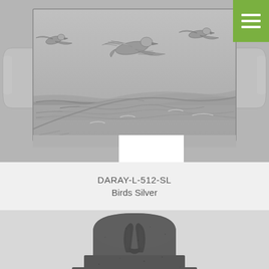[Figure (photo): Silver metal relief plaque shaped like a cross/grave marker with birds in flight over ocean waves and beach scene. Three seagulls flying, ocean with waves below, sandy beach visible. Center bottom has a white rectangular notch cutout.]
DARAY-L-512-SL
Birds Silver
[Figure (photo): Dark gray granite-textured plaque with dome-shaped top showing praying hands in relief. The plaque has a stepped/tiered base design with rough stone texture.]